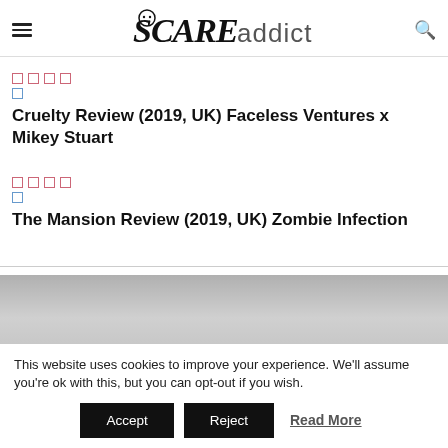SCАREaddicts
Cruelty Review (2019, UK) Faceless Ventures x Mikey Stuart
The Mansion Review (2019, UK) Zombie Infection
This website uses cookies to improve your experience. We'll assume you're ok with this, but you can opt-out if you wish.
Accept  Reject  Read More